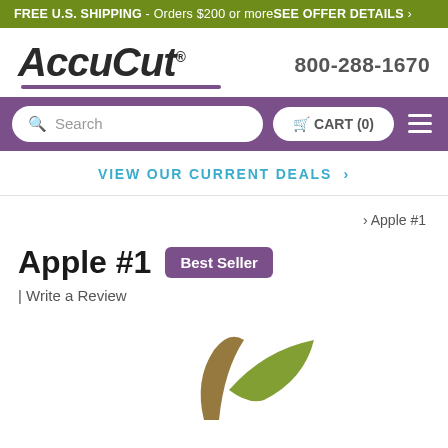FREE U.S. SHIPPING - Orders $200 or more SEE OFFER DETAILS >
[Figure (logo): AccuCut logo with purple underline]
800-288-1670
Search
CART (0)
VIEW OUR CURRENT DEALS >
> Apple #1
Apple #1
Best Seller
| Write a Review